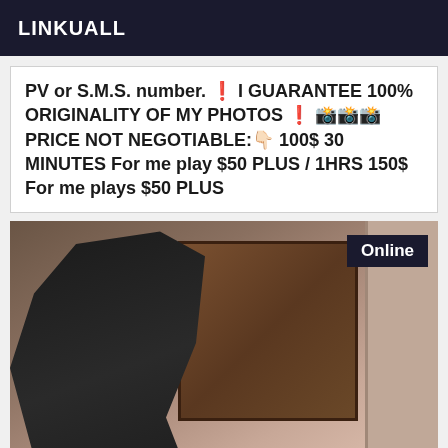LINKUALL
PV or S.M.S. number. ❗ I GUARANTEE 100% ORIGINALITY OF MY PHOTOS ❗ 📸📸📸 PRICE NOT NEGOTIABLE:👇🏻 100$ 30 MINUTES For me play $50 PLUS / 1HRS 150$ For me plays $50 PLUS
[Figure (photo): Woman in black latex/leather outfit kneeling next to a wooden chest with boots and restraints, with an 'Online' badge overlay in top right corner]